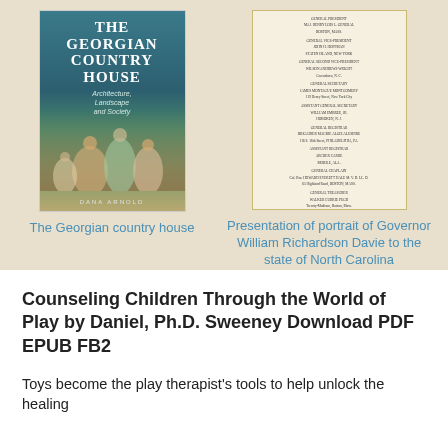[Figure (photo): Book cover of 'The Georgian Country House: Architecture, Landscape and Society' showing Georgian-era figures]
The Georgian country house
[Figure (photo): Document cover: Presentation of portrait of Governor William Richardson Davie to the state of North Carolina - General Society of the Sons of the Revolution]
Presentation of portrait of Governor William Richardson Davie to the state of North Carolina
Counseling Children Through the World of Play by Daniel, Ph.D. Sweeney Download PDF EPUB FB2
Toys become the play therapist's tools to help unlock the healing